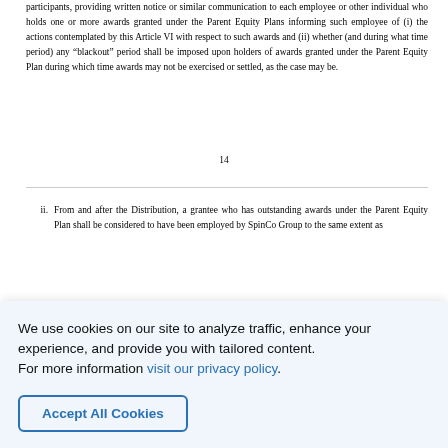participants, providing written notice or similar communication to each employee or other individual who holds one or more awards granted under the Parent Equity Plans informing such employee of (i) the actions contemplated by this Article VI with respect to such awards and (ii) whether (and during what time period) any “blackout” period shall be imposed upon holders of awards granted under the Parent Equity Plan during which time awards may not be exercised or settled, as the case may be.
14
ii. From and after the Distribution, a grantee who has outstanding awards under the Parent Equity Plan shall be considered to have been employed by SpinCo Group to the same extent as
We use cookies on our site to analyze traffic, enhance your experience, and provide you with tailored content.
For more information visit our privacy policy.